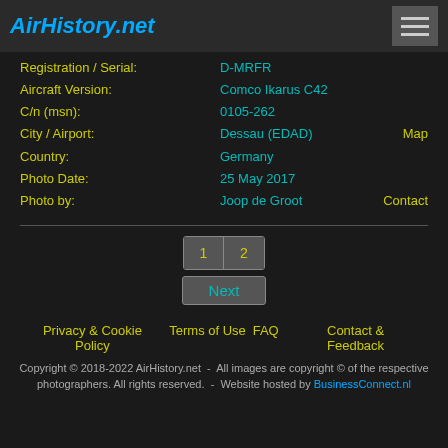AirHistory.net
| Registration / Serial: | D-MRFR |  |
| Aircraft Version: | Comco Ikarus C42 |  |
| C/n (msn): | 0105-262 |  |
| City / Airport: | Dessau (EDAD) | Map |
| Country: | Germany |  |
| Photo Date: | 25 May 2017 |  |
| Photo by: | Joop de Groot | Contact |
1  2
Next
Privacy & Cookie Policy   Terms of Use   FAQ   Contact & Feedback
Copyright © 2018-2022 AirHistory.net  -  All images are copyright © of the respective photographers. All rights reserved.  -  Website hosted by BusinessConnect.nl